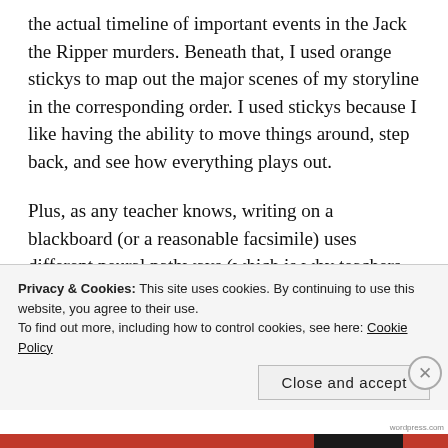the actual timeline of important events in the Jack the Ripper murders. Beneath that, I used orange stickys to map out the major scenes of my storyline in the corresponding order. I used stickys because I like having the ability to move things around, step back, and see how everything plays out.
Plus, as any teacher knows, writing on a blackboard (or a reasonable facsimile) uses different neural pathways (which is why teachers make more spelling and grammatical errors when writing on
Privacy & Cookies: This site uses cookies. By continuing to use this website, you agree to their use.
To find out more, including how to control cookies, see here: Cookie Policy
Close and accept